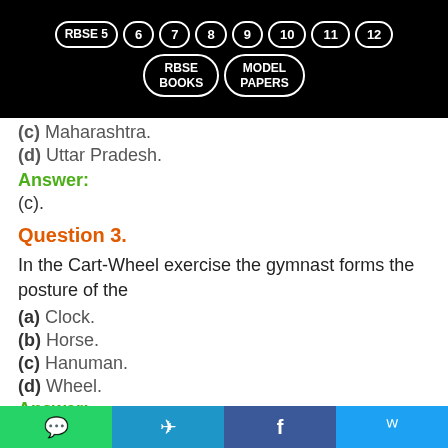RBSE 5 | 6 | 7 | 8 | 9 | 10 | 11 | 12 | RBSE BOOKS | MODEL PAPERS
(c) Maharashtra.
(d) Uttar Pradesh.
Answer:
(c).
Question 3.
In the Cart-Wheel exercise the gymnast forms the posture of the
(a) Clock.
(b) Horse.
(c) Hanuman.
(d) Wheel.
Answer:
WhatsApp | Telegram | Facebook | Twitter